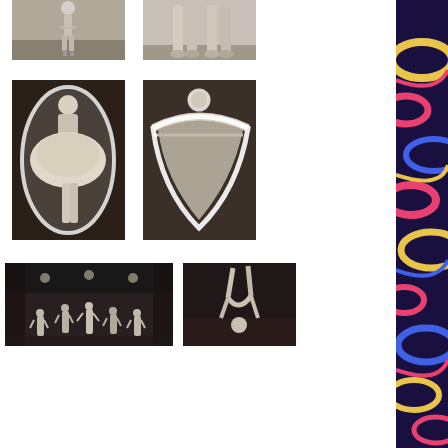[Figure (photo): Black and white photo of a ballet dancer on pointe, upper left]
[Figure (photo): Black and white photo of two dancers' legs in pointe shoes, upper center-right]
[Figure (photo): Black and white photo of a woman in a tutu dress with white cutout effect, middle left]
[Figure (photo): Black and white photo of a dancer in flowing dress with white cutout effect, middle center-right]
[Figure (photo): Black and white photo of a large group of dancers on stage, lower left]
[Figure (photo): Black and white photo of an acrobatic dancer doing a handstand/backbend, lower right]
[Figure (illustration): Colorful decorative strip on far right with abstract curves in red, yellow, blue, pink on dark background]